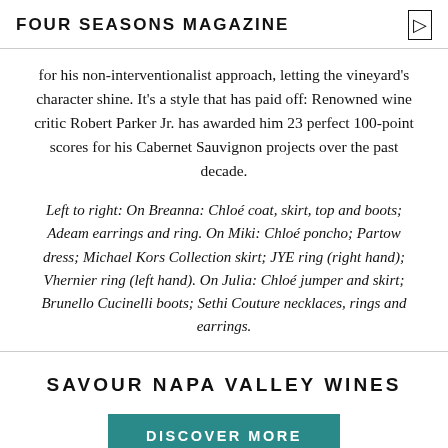FOUR SEASONS MAGAZINE
for his non-interventionalist approach, letting the vineyard's character shine. It's a style that has paid off: Renowned wine critic Robert Parker Jr. has awarded him 23 perfect 100-point scores for his Cabernet Sauvignon projects over the past decade.
Left to right: On Breanna: Chloé coat, skirt, top and boots; Adeam earrings and ring. On Miki: Chloé poncho; Partow dress; Michael Kors Collection skirt; JYE ring (right hand); Vhernier ring (left hand). On Julia: Chloé jumper and skirt; Brunello Cucinelli boots; Sethi Couture necklaces, rings and earrings.
SAVOUR NAPA VALLEY WINES
DISCOVER MORE